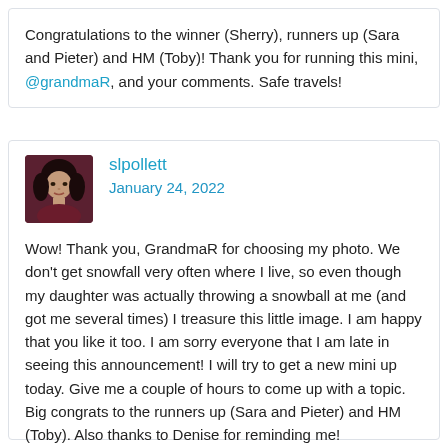Congratulations to the winner (Sherry), runners up (Sara and Pieter) and HM (Toby)! Thank you for running this mini, @grandmaR, and your comments. Safe travels!
[Figure (photo): Profile photo of slpollett — woman with dark hair against a dark background]
slpollett
January 24, 2022
Wow! Thank you, GrandmaR for choosing my photo. We don't get snowfall very often where I live, so even though my daughter was actually throwing a snowball at me (and got me several times) I treasure this little image. I am happy that you like it too. I am sorry everyone that I am late in seeing this announcement! I will try to get a new mini up today. Give me a couple of hours to come up with a topic. Big congrats to the runners up (Sara and Pieter) and HM (Toby). Also thanks to Denise for reminding me!

Thanks,
Sherry P.